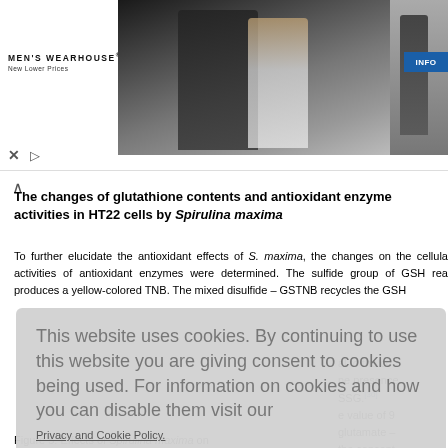[Figure (photo): Men's Wearhouse advertisement banner showing couple in formal wear and solo male model in suit, with INFO button]
The changes of glutathione contents and antioxidant enzyme activities in HT22 cells by Spirulina maxima
To further elucidate the antioxidant effects of S. maxima, the changes on the cellular activities of antioxidant enzymes were determined. The sulfide group of GSH rea produces a yellow-colored TNB. The mixed disulfide – GSTNB recycles the GSH al to the co ne presence SSG.[30] e value of 9 glutamate – the concent slightly high 00 μg/mL s 83.27% ar
Figure 5: Effects of Spirulina maxima on
This website uses cookies. By continuing to use this website you are giving consent to cookies being used. For information on cookies and how you can disable them visit our Privacy and Cookie Policy.